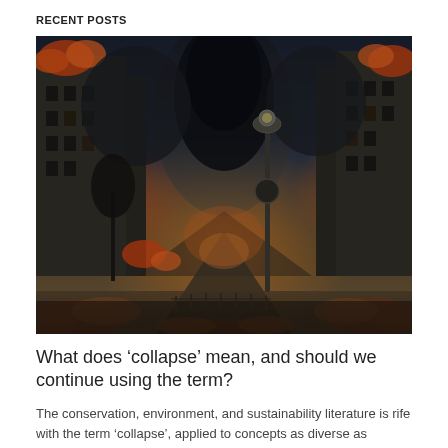RECENT POSTS
[Figure (illustration): A dramatic apocalyptic scene of a European city street engulfed in fire and dark smoke. Ornate buildings line both sides of a boulevard, with orange flames rising from rubble and ground level. A vintage lamp post stands in the center-right foreground. Dark tornado-like smoke columns dominate the sky.]
What does ‘collapse’ mean, and should we continue using the term?
The conservation, environment, and sustainability literature is rife with the term ‘collapse’, applied to concepts as diverse as species extinction